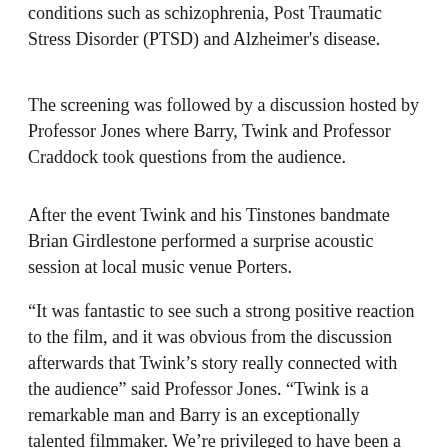conditions such as schizophrenia, Post Traumatic Stress Disorder (PTSD) and Alzheimer's disease.
The screening was followed by a discussion hosted by Professor Jones where Barry, Twink and Professor Craddock took questions from the audience.
After the event Twink and his Tinstones bandmate Brian Girdlestone performed a surprise acoustic session at local music venue Porters.
“It was fantastic to see such a strong positive reaction to the film, and it was obvious from the discussion afterwards that Twink’s story really connected with the audience” said Professor Jones. “Twink is a remarkable man and Barry is an exceptionally talented filmmaker. We’re privileged to have been a part of this project with them.”